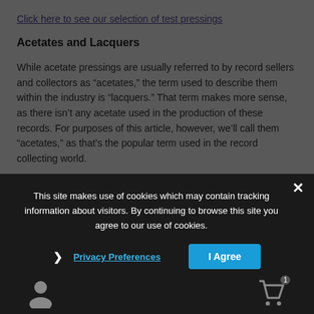Click here to see our selection of test pressings
Acetates and Lacquers
While acetate pressings are usually referred to by record sellers and collectors as “acetates,” the term used to describe them within the industry is “lacquers.” That term makes more sense, as there isn’t any acetate used in the production of these records. For purposes of this article, however, we’ll call them “acetates,” as that’s the popular term used in the record collecting world.
This site makes use of cookies which may contain tracking information about visitors. By continuing to browse this site you agree to our use of cookies.
Privacy Preferences
I Agree